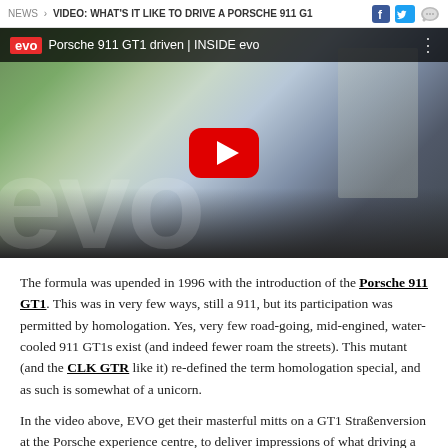NEWS > VIDEO: WHAT'S IT LIKE TO DRIVE A PORSCHE 911 G1
[Figure (screenshot): YouTube video thumbnail showing a Porsche 911 GT1 with Mobil 1 livery on a race track. EVO logo top-left, video title 'Porsche 911 GT1 driven | INSIDE evo', red YouTube play button overlay in center.]
The formula was upended in 1996 with the introduction of the Porsche 911 GT1. This was in very few ways, still a 911, but its participation was permitted by homologation. Yes, very few road-going, mid-engined, water-cooled 911 GT1s exist (and indeed fewer roam the streets). This mutant (and the CLK GTR like it) re-defined the term homologation special, and as such is somewhat of a unicorn.
In the video above, EVO get their masterful mitts on a GT1 Straßenversion at the Porsche experience centre, to deliver impressions of what driving a